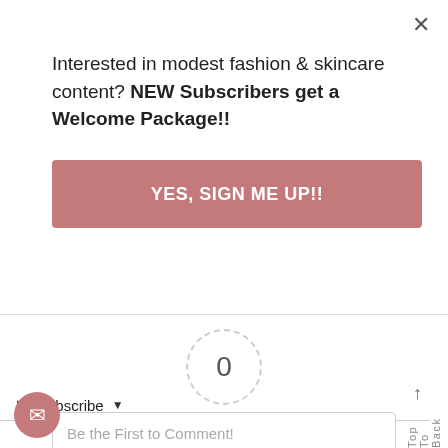Interested in modest fashion & skincare content? NEW Subscribers get a Welcome Package!!
YES, SIGN ME UP!!
[Figure (infographic): Rating widget showing 0 with dashed circle, dashes on either side, Article Rating label, and 5 gray stars below]
Subscribe ▾
Be the First to Comment!
Back To Top